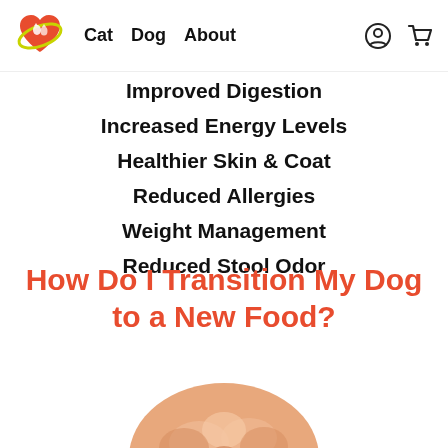Cat  Dog  About
Improved Digestion
Increased Energy Levels
Healthier Skin & Coat
Reduced Allergies
Weight Management
Reduced Stool Odor
How Do I Transition My Dog to a New Food?
[Figure (photo): Close-up photo of a fluffy light orange/golden dog, cropped at the bottom of the page]